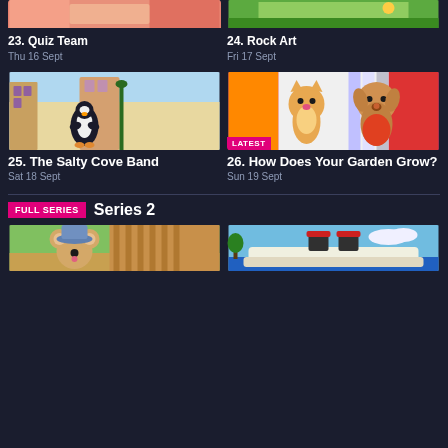[Figure (illustration): Partial top thumbnail for Quiz Team episode - salmon/pink cartoon background]
[Figure (illustration): Partial top thumbnail for Rock Art episode - green outdoor cartoon background]
23. Quiz Team
Thu 16 Sept
24. Rock Art
Fri 17 Sept
[Figure (illustration): Cartoon penguin in colorful town street scene]
[Figure (illustration): Cartoon cat and dog characters with LATEST badge overlay]
25. The Salty Cove Band
Sat 18 Sept
26. How Does Your Garden Grow?
Sun 19 Sept
FULL SERIES  Series 2
[Figure (illustration): Cartoon mouse character with blue hat]
[Figure (illustration): Cartoon cruise ship on blue water with sky]